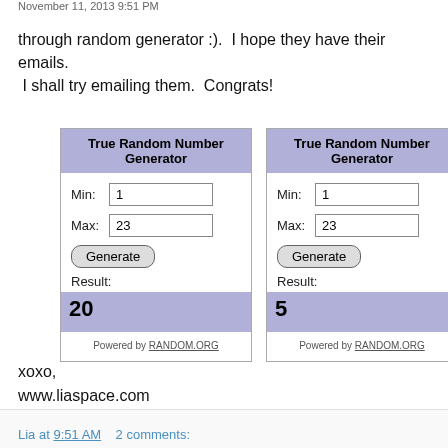November 11, 2013 9:51 PM
through random generator :).  I hope they have their emails.  I shall try emailing them.  Congrats!
[Figure (screenshot): Two True Random Number Generator widgets side by side. Left: Min=1, Max=23, Result=20. Right: Min=1, Max=23, Result=5. Both powered by RANDOM.ORG.]
xoxo,
www.liaspace.com
Lia at 9:51 AM    2 comments: